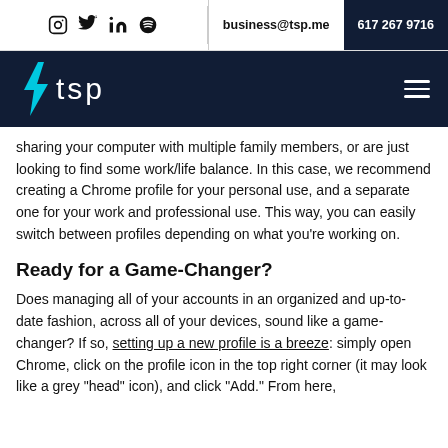social icons | business@tsp.me | 617 267 9716
[Figure (logo): TSP logo with lightning bolt on dark navy background with hamburger menu]
sharing your computer with multiple family members, or are just looking to find some work/life balance. In this case, we recommend creating a Chrome profile for your personal use, and a separate one for your work and professional use. This way, you can easily switch between profiles depending on what you’re working on.
Ready for a Game-Changer?
Does managing all of your accounts in an organized and up-to-date fashion, across all of your devices, sound like a game-changer? If so, setting up a new profile is a breeze: simply open Chrome, click on the profile icon in the top right corner (it may look like a grey “head” icon), and click “Add.” From here,